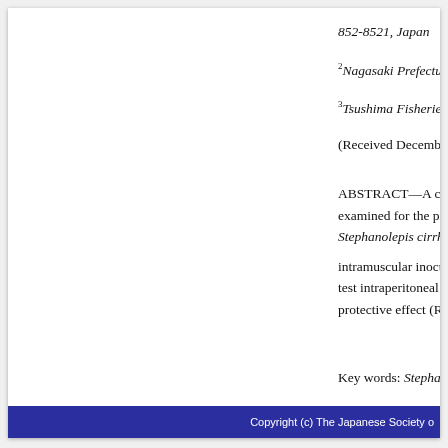852-8521, Japan
2Nagasaki Prefectural Insti
3Tsushima Fisheries Expan
(Received December 27, 20
ABSTRACT—A commerc examined for the protective Stephanolepis cirrhifer. In t intramuscular inoculation w test intraperitoneal inoculat protective effect (RPS≧85
Key words: Stephanolepis c
Copyright (c) The Japanese Society o